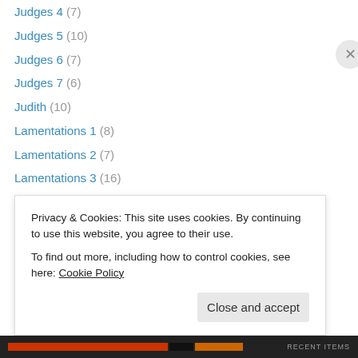Judges 4 (7)
Judges 5 (10)
Judges 6 (7)
Judges 7 (6)
Judith (10)
Lamentations 1 (8)
Lamentations 2 (7)
Lamentations 3 (16)
Lamentations 4 (7)
Lamentations 5 (4)
Leviticus 12 (9)
Leviticus 14 (7)
Leviticus 15 (7)
Leviticus 16 (7)
Privacy & Cookies: This site uses cookies. By continuing to use this website, you agree to their use. To find out more, including how to control cookies, see here: Cookie Policy